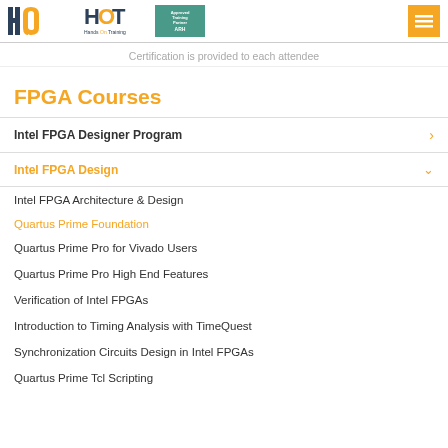HandsOn Training - Approved Training Partner ARH
Certification is provided to each attendee
FPGA Courses
Intel FPGA Designer Program
Intel FPGA Design
Intel FPGA Architecture & Design
Quartus Prime Foundation
Quartus Prime Pro for Vivado Users
Quartus Prime Pro High End Features
Verification of Intel FPGAs
Introduction to Timing Analysis with TimeQuest
Synchronization Circuits Design in Intel FPGAs
Quartus Prime Tcl Scripting